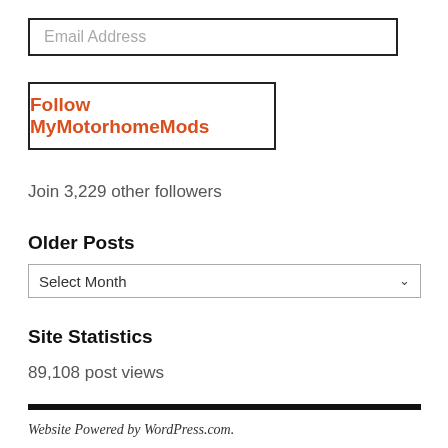Email Address
Follow MyMotorhomeMods
Join 3,229 other followers
Older Posts
Select Month
Site Statistics
89,108 post views
Website Powered by WordPress.com.